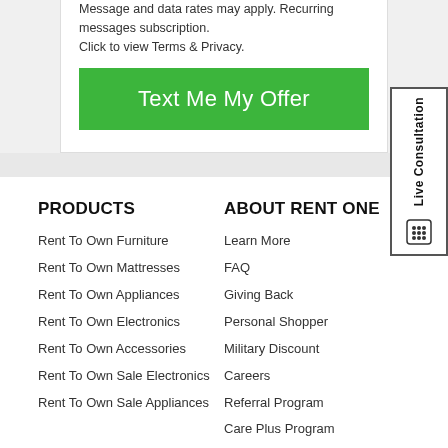Message and data rates may apply. Recurring messages subscription.
Click to view Terms & Privacy.
Text Me My Offer
PRODUCTS
Rent To Own Furniture
Rent To Own Mattresses
Rent To Own Appliances
Rent To Own Electronics
Rent To Own Accessories
Rent To Own Sale Electronics
Rent To Own Sale Appliances
ABOUT RENT ONE
Learn More
FAQ
Giving Back
Personal Shopper
Military Discount
Careers
Referral Program
Care Plus Program
TOOLS & SUPPORT
LOCATIONS